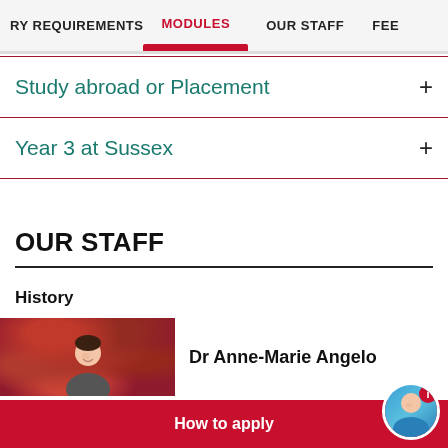RY REQUIREMENTS | MODULES | OUR STAFF | FEE
Study abroad or Placement +
Year 3 at Sussex +
OUR STAFF
History
Dr Anne-Marie Angelo
How to apply